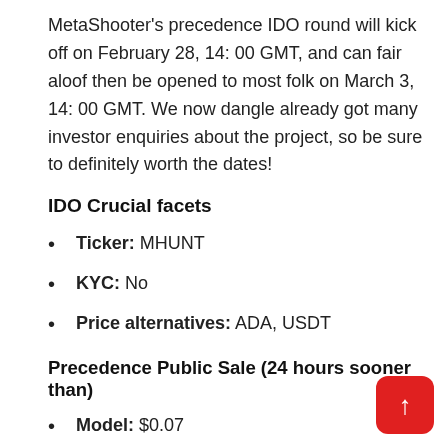MetaShooter's precedence IDO round will kick off on February 28, 14: 00 GMT, and can fair aloof then be opened to most folk on March 3, 14: 00 GMT. We now dangle already got many investor enquiries about the project, so be sure to definitely worth the dates!
IDO Crucial facets
Ticker: MHUNT
KYC: No
Price alternatives: ADA, USDT
Precedence Public Sale (24 hours sooner than)
Model: $0.07
Delivery up: February 28 (14: 00 GMT)